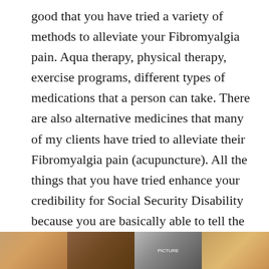good that you have tried a variety of methods to alleviate your Fibromyalgia pain. Aqua therapy, physical therapy, exercise programs, different types of medications that a person can take. There are also alternative medicines that many of my clients have tried to alleviate their Fibromyalgia pain (acupuncture). All the things that you have tried enhance your credibility for Social Security Disability because you are basically able to tell the judge: your honor I have tried this, this, and this and I still have this Fibromyalgia pain that prevents me from working. Effort does count for a lot with Fibromyalgia or any type of impairment for a Social Security Disability case.
[Figure (photo): Partial strip of images at the bottom of the page showing what appear to be people or portraits, cropped horizontally]